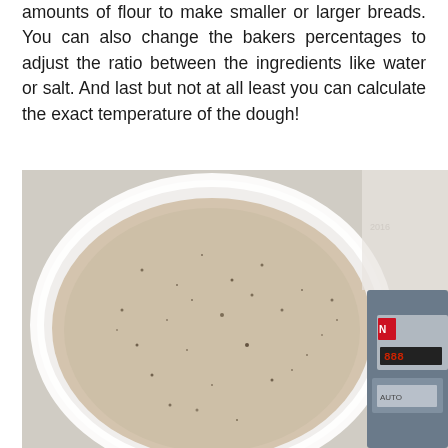amounts of flour to make smaller or larger breads. You can also change the bakers percentages to adjust the ratio between the ingredients like water or salt. And last but not at all least you can calculate the exact temperature of the dough!
[Figure (photo): Overhead photo of a round white bowl or plate containing a mixture of flour and water (likely sourdough starter or dough mixture), speckled with dark bran particles. A kitchen scale is partially visible at the right edge.]